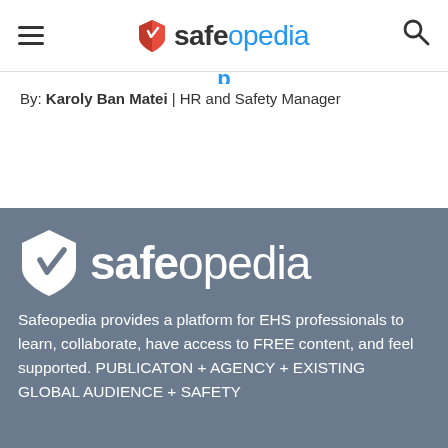safeopedia (navigation header with hamburger menu and search icon)
By: Karoly Ban Matei | HR and Safety Manager
[Figure (logo): Safeopedia white logo with shield icon on dark gray background]
Safeopedia provides a platform for EHS professionals to learn, collaborate, have access to FREE content, and feel supported. PUBLICATON + AGENCY + EXISTING GLOBAL AUDIENCE + SAFETY